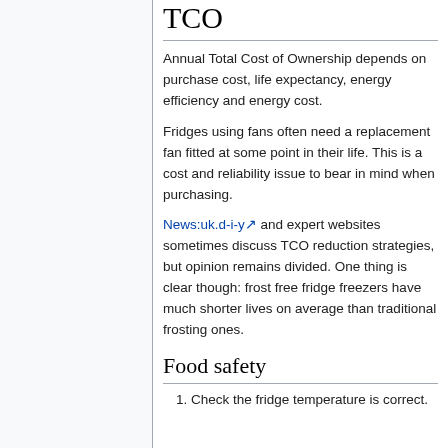TCO
Annual Total Cost of Ownership depends on purchase cost, life expectancy, energy efficiency and energy cost.
Fridges using fans often need a replacement fan fitted at some point in their life. This is a cost and reliability issue to bear in mind when purchasing.
News:uk.d-i-y and expert websites sometimes discuss TCO reduction strategies, but opinion remains divided. One thing is clear though: frost free fridge freezers have much shorter lives on average than traditional frosting ones.
Food safety
Check the fridge temperature is correct.